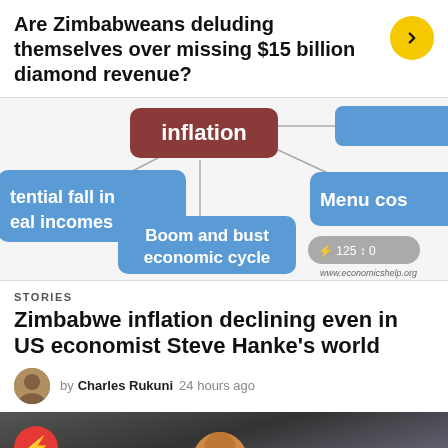Are Zimbabweans deluding themselves over missing $15 billion diamond revenue?
[Figure (flowchart): Partial economics diagram showing inflation concept map with nodes: 'inflation' (red/brown center), 'tential fall in eal incomes' (blue, left), 'Boom and bust economic cycle' (blue, center-bottom), 'Menu cos' (blue, right), connected by lines. Bottom right shows stats: 125 and 0. Source: www.economicshelp.org]
STORIES
Zimbabwe inflation declining even in US economist Steve Hanke's world
by Charles Rukuni 24 hours ago
[Figure (photo): Photo of a person wearing orange-tinted glasses and a yellow shirt at what appears to be a public gathering. Red lightning bolt circle icon overlay top-left, yellow up-arrow circle icon bottom-right.]